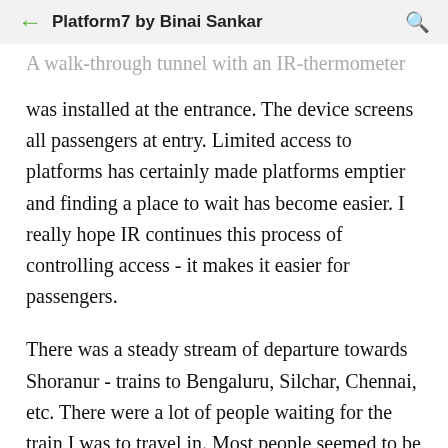Platform7 by Binai Sankar
A walk-through tunnel with an IR-thermometer was installed at the entrance. The device screens all passengers at entry. Limited access to platforms has certainly made platforms emptier and finding a place to wait has become easier. I really hope IR continues this process of controlling access - it makes it easier for passengers.
There was a steady stream of departure towards Shoranur - trains to Bengaluru, Silchar, Chennai, etc. There were a lot of people waiting for the train I was to travel in. Most people seemed to be